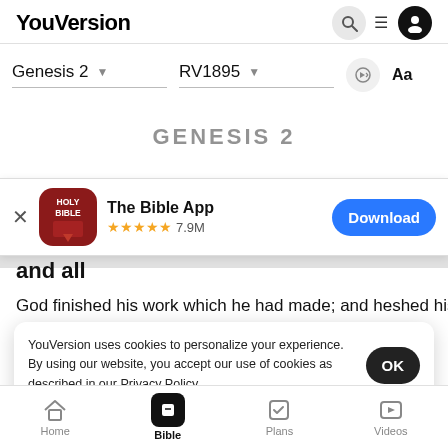YouVersion
Genesis 2 ▾   RV1895 ▾   Aa
[Figure (screenshot): Partially visible GENESIS 2 title text]
[Figure (screenshot): The Bible App download banner with Holy Bible icon, 5 stars, 7.9M reviews, and Download button]
nd the heaven and the earth were finish...
and all
God finished his work which he had made; and he
YouVersion uses cookies to personalize your experience. By using our website, you accept our use of cookies as described in our Privacy Policy.
Home  Bible  Plans  Videos